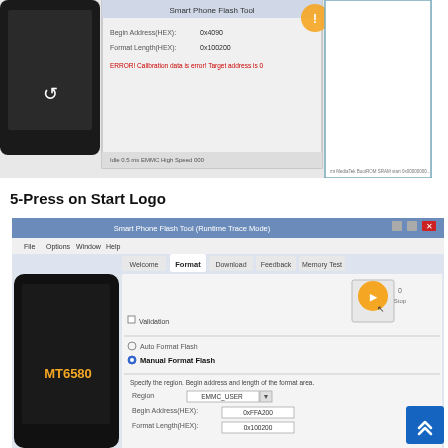[Figure (screenshot): Screenshot of Smart Phone Flash Tool showing error/format dialog with a phone device connected. Red/orange warning icon visible with error text and hex address fields shown at bottom.]
5-Press on Start Logo
[Figure (screenshot): Screenshot of Smart Phone Flash Tool (Runtime Trace Mode) showing the Format tab. A connected MT6580 phone is visible on the left. Options include Auto Format Flash and Manual Format Flash. Fields for Region (EMMC_USER), Begin Address (HEX) (0xFFA200), and Format Length (HEX) (0x100200) are shown. A Start button (orange logo) is visible in the top right area of the tool.]